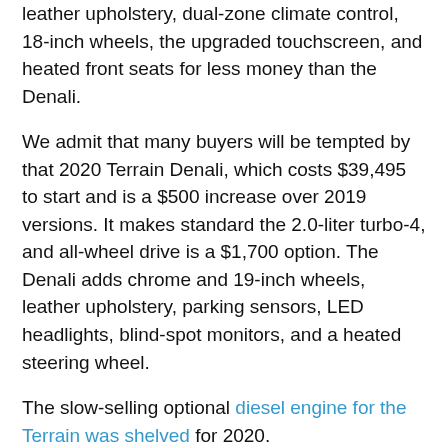leather upholstery, dual-zone climate control, 18-inch wheels, the upgraded touchscreen, and heated front seats for less money than the Denali.
We admit that many buyers will be tempted by that 2020 Terrain Denali, which costs $39,495 to start and is a $500 increase over 2019 versions. It makes standard the 2.0-liter turbo-4, and all-wheel drive is a $1,700 option. The Denali adds chrome and 19-inch wheels, leather upholstery, parking sensors, LED headlights, blind-spot monitors, and a heated steering wheel.
The slow-selling optional diesel engine for the Terrain was shelved for 2020.
We are committed to offering honest, unbiased reviews. Read our